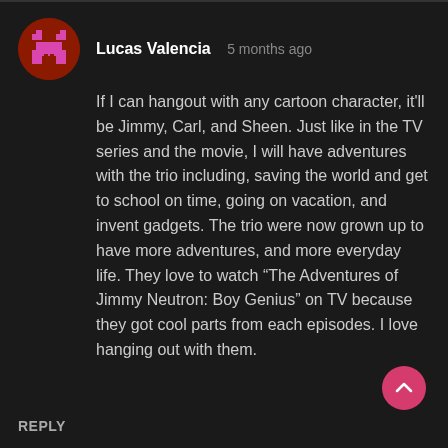Lucas Valencia   5 months ago
If I can hangout with any cartoon character, it'll be Jimmy, Carl, and Sheen. Just like in the TV series and the movie, I will have adventures with the trio including, saving the world and get to school on time, going on vacation, and invent gadgets. The trio were now grown up to have more adventures, and more everyday life. They love to watch “The Adventures of Jimmy Neutron: Boy Genius” on TV because they got cool parts from each episodes. I love hanging out with them.
REPLY